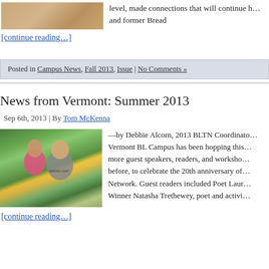[Figure (photo): Top cropped photo showing a person at a table with orange/wooden surface]
level, made connections that will continue h… and former Bread
[continue reading…]
Posted in Campus News, Fall 2013, Issue | No Comments »
News from Vermont: Summer 2013
Sep 6th, 2013 | By Tom McKenna
[Figure (photo): Two people smiling outdoors, one wearing a pink top and one wearing a Bread Loaf hoodie, green trees and yellow building in background]
—by Debbie Alcorn, 2013 BLTN Coordinato… Vermont BL Campus has been hopping this… more guest speakers, readers, and worksho… before, to celebrate the 20th anniversary of… Network. Guest readers included Poet Laur… Winner Natasha Trethewey, poet and activi…
[continue reading…]